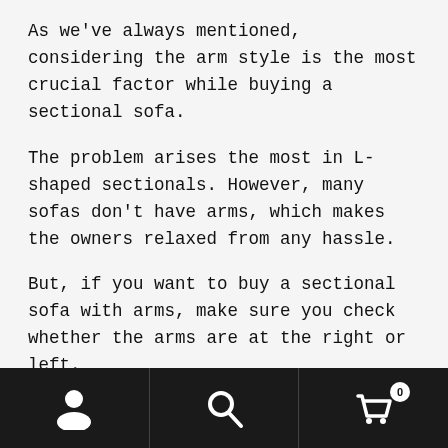As we've always mentioned, considering the arm style is the most crucial factor while buying a sectional sofa.
The problem arises the most in L-shaped sectionals. However, many sofas don't have arms, which makes the owners relaxed from any hassle.
But, if you want to buy a sectional sofa with arms, make sure you check whether the arms are at the right or left.
In many cases, the arms of the sectional don't match the space reserved for the sofa. In the end, it either becomes of no use, or you have to change the place of all the furniture to make the sectional fit.
Navigation bar with user, search, and cart (0) icons